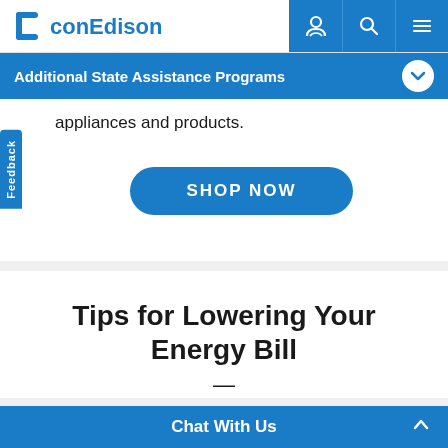conEdison
Additional State Assistance Programs
appliances and products.
SHOP NOW
Tips for Lowering Your Energy Bill
Chat With Us